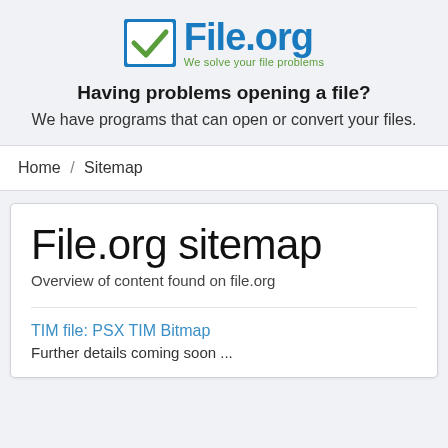[Figure (logo): File.org logo with blue checkbox icon and text 'File.org' in blue, tagline 'We solve your file problems' in green]
Having problems opening a file?
We have programs that can open or convert your files.
Home / Sitemap
File.org sitemap
Overview of content found on file.org
TIM file: PSX TIM Bitmap
Further details coming soon ...